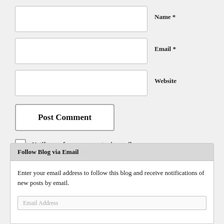Name *
Email *
Website
Post Comment
Notify me of new comments via email.
Notify me of new posts via email.
Follow Blog via Email
Enter your email address to follow this blog and receive notifications of new posts by email.
Email Address